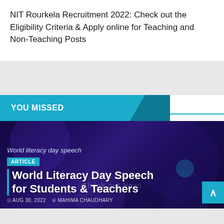NIT Rourkela Recruitment 2022: Check out the Eligibility Criteria & Apply online for Teaching and Non-Teaching Posts
YOU MISSED
[Figure (photo): Dark blue/purple gradient background image for World Literacy Day Speech article card with a figure illustration]
World literacy day speech
ARTICLE
World Literacy Day Speech for Students & Teachers
AUG 30, 2022   MAHIMA CHAUDHARY